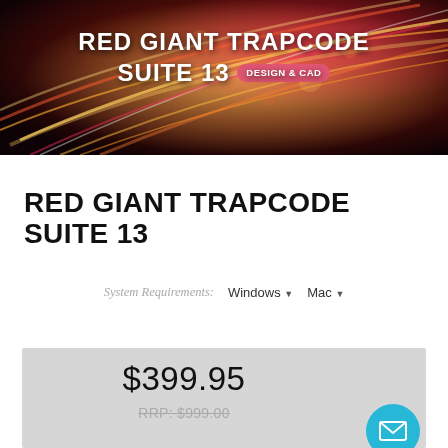[Figure (illustration): Dark banner background with glowing red, orange, and gold light streaks and bokeh effects, serving as header image for Red Giant Trapcode Suite 13 product page]
RED GIANT TRAPCODE SUITE 13
System Requirements: Windows ▾  Mac ▾
$399.95
RRP: $999.00